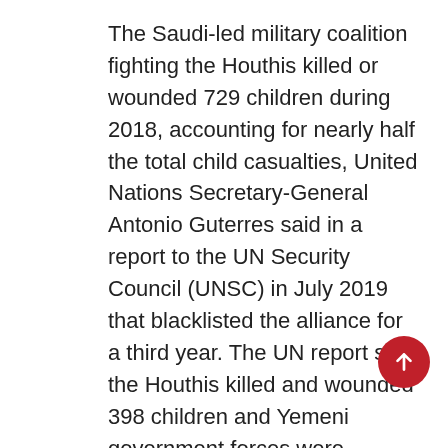The Saudi-led military coalition fighting the Houthis killed or wounded 729 children during 2018, accounting for nearly half the total child casualties, United Nations Secretary-General Antonio Guterres said in a report to the UN Security Council (UNSC) in July 2019 that blacklisted the alliance for a third year. The UN report said the Houthis killed and wounded 398 children and Yemeni government forces were responsible for 58 child casualties.
Maysaa Shuja al-Deen, a Yemeni researcher and a non-resident fellow at the Sanaa Center for Strategic Studies, said the...